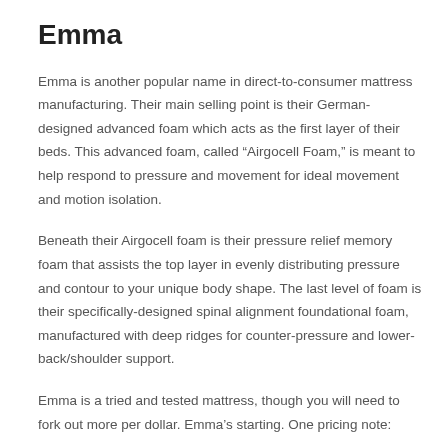Emma
Emma is another popular name in direct-to-consumer mattress manufacturing. Their main selling point is their German-designed advanced foam which acts as the first layer of their beds. This advanced foam, called “Airgocell Foam,” is meant to help respond to pressure and movement for ideal movement and motion isolation.
Beneath their Airgocell foam is their pressure relief memory foam that assists the top layer in evenly distributing pressure and contour to your unique body shape. The last level of foam is their specifically-designed spinal alignment foundational foam, manufactured with deep ridges for counter-pressure and lower-back/shoulder support.
Emma is a tried and tested mattress, though you will need to fork out more per dollar. Emma’s starting. One pricing note: